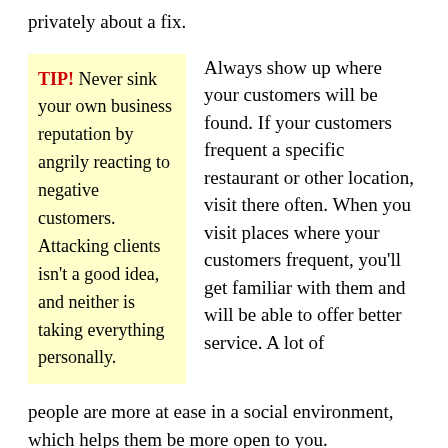privately about a fix.
TIP! Never sink your own business reputation by angrily reacting to negative customers. Attacking clients isn't a good idea, and neither is taking everything personally.
Always show up where your customers will be found. If your customers frequent a specific restaurant or other location, visit there often. When you visit places where your customers frequent, you'll get familiar with them and will be able to offer better service. A lot of people are more at ease in a social environment, which helps them be more open to you.